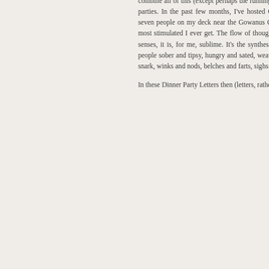combine all of this (except perhaps the running) into one single expereince is by hosting dinner parties. In the past few months, I've hosted CoVID-aware dinner parties for typically six or seven people on my deck near the Gowanus Canal in Brooklyn. Those parties are perhaps the most stimulated I ever get. The flow of thought, word, emotion, idea, the activation of all five senses, it is, for me, sublime. It's the synthesis, especially, that I love, the group of disparate people sober and tipsy, hungry and sated, weaving together anecdotes and jokes, sentiment and snark, winks and nods, belches and farts, sighs and lulls.
In these Dinner Party Letters then (letters, rather than newsletters, since nothing here